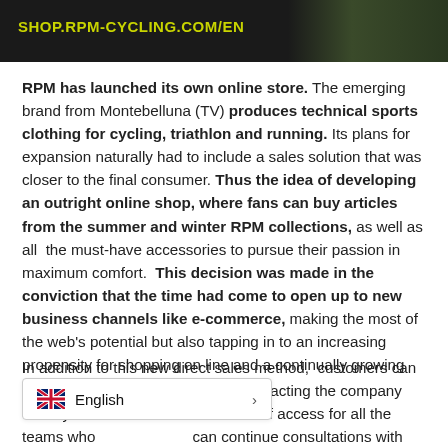[Figure (photo): Dark banner image with yellow/green text URL 'SHOP.RPM-CYCLING.COM/EN' and a dark background with cycling apparel visible on the right side.]
RPM has launched its own online store. The emerging brand from Montebelluna (TV) produces technical sports clothing for cycling, triathlon and running. Its plans for expansion naturally had to include a sales solution that was closer to the final consumer. Thus the idea of developing an outright online shop, where fans can buy articles from the summer and winter RPM collections, as well as all the must-have accessories to pursue their passion in maximum comfort. This decision was made in the conviction that the time had come to open up to new business channels like e-commerce, making the most of the web's potential but also tapping in to an increasing propensity for shopping on line and a continually growing market of internet consumers.
In addition to this new direct sales method, customers can also purchase RPM products by contacting the company directly. This channel of access for all the teams who can continue consultations with RPM technicians on the best available materials, choose the perfect
[Figure (other): Language selector widget showing UK flag and 'English' with a right arrow chevron.]